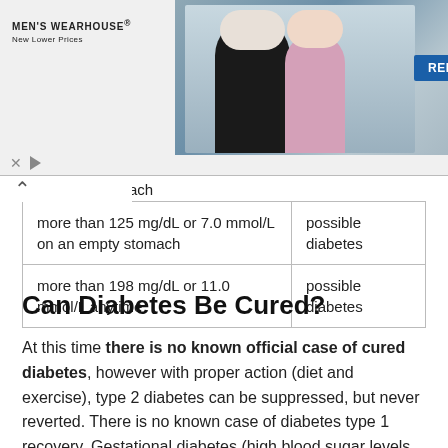[Figure (photo): Men's Wearhouse advertisement banner showing a couple in formal wear and a solo man in a tuxedo with a RENT button]
| more than 125 mg/dL or 7.0 mmol/L on an empty stomach | possible diabetes |
| more than 198 mg/dL or 11.0 mmol/L anytime | possible diabetes |
Can Diabetes Be Cured?
At this time there is no known official case of cured diabetes, however with proper action (diet and exercise), type 2 diabetes can be suppressed, but never reverted. There is no known case of diabetes type 1 recovery. Gestational diabetes (high blood sugar levels that manifest during pregnancy) will